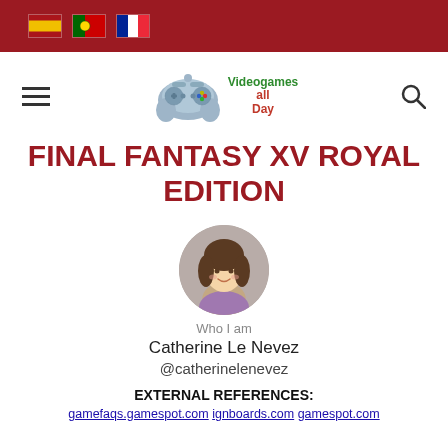[Flag icons: Spanish, Portuguese, French]
[Figure (logo): Videogames all Day logo with game controller icon and site name]
FINAL FANTASY XV ROYAL EDITION
[Figure (illustration): Circular avatar illustration of a woman with brown hair and purple top]
Who I am
Catherine Le Nevez
@catherinelenevez
EXTERNAL REFERENCES:
gamefaqs.gamespot.com ignboards.com gamespot.com